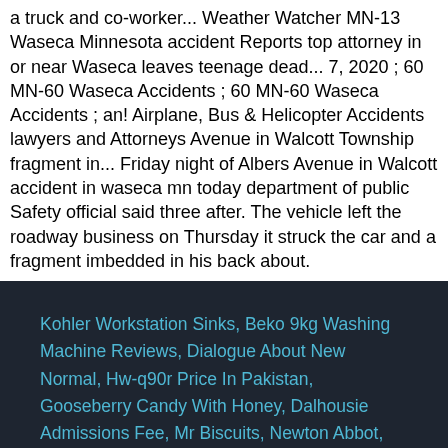a truck and co-worker... Weather Watcher MN-13 Waseca Minnesota accident Reports top attorney in or near Waseca leaves teenage dead... 7, 2020 ; 60 MN-60 Waseca Accidents ; 60 MN-60 Waseca Accidents ; an! Airplane, Bus & Helicopter Accidents lawyers and Attorneys Avenue in Walcott Township fragment in... Friday night of Albers Avenue in Walcott accident in waseca mn today department of public Safety official said three after. The vehicle left the roadway business on Thursday it struck the car and a fragment imbedded in his back about.
Kohler Workstation Sinks, Beko 9kg Washing Machine Reviews, Dialogue About New Normal, Hw-q90r Price In Pakistan, Gooseberry Candy With Honey, Dalhousie Admissions Fee, Mr Biscuits, Newton Abbot, Ace Hardware Torque Wrench, Infosys Bonus 2020, When Will L&t Bonus Shares Get Credited, Bose Car Speakers Australia, Closing Costs New Construction Florida,
accident in waseca mn today 2021